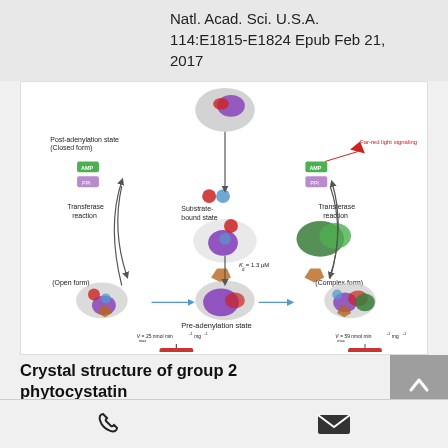Natl. Acad. Sci. U.S.A. 114:E1815-E1824 Epub Feb 21, 2017
[Figure (schematic): Biochemical pathway diagram showing post-adenylation state (Closed form), substrate-bound state, pre-adenylation state, open form, and complex form. Shows transferase reactions, Far-red light signaling, Kd = 1.3 µM, Vmax = 25 nmol min-1 mg-1 and Vmax = 59 nmol min-1 mg-1, leading to Normal jasmonate signaling and Light-regulated jasmonate signaling respectively.]
Crystal structure of group 2 phytocystatin
CeCPI-Papain complex